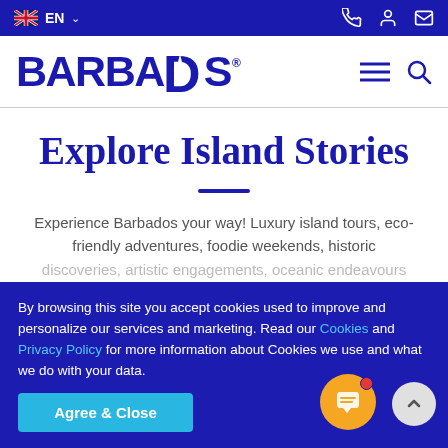EN
[Figure (logo): BARBADOS logo with compass icon in dark blue]
Explore Island Stories
Experience Barbados your way! Luxury island tours, eco-friendly adventures, foodie weekends, historic discoveries, artistic engagements, oceanic endeavours
By browsing this site you accept cookies used to improve and personalize our services and marketing. Read our Cookies and Privacy Policy for more information about Cookies we use and what we do with your data.
Agree & Close